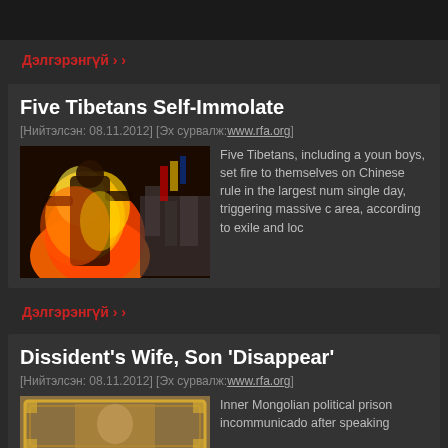Дэлгэрэнгүй ›
Five Tibetans Self-Immolate
[Нийтэлсэн: 08.11.2012] [Эх сурвалж: www.rfa.org]
[Figure (photo): A person on fire running, with Tibetan flags and crowd in background]
Five Tibetans, including a youn boys, set fire to themselves on Chinese rule in the largest num single day, triggering massive c area, according to exile and loc
Дэлгэрэнгүй ›
Dissident's Wife, Son 'Disappear'
[Нийтэлсэн: 08.11.2012] [Эх сурвалж: www.rfa.org]
[Figure (photo): Portrait image with golden decorative frame]
Inner Mongolian political prison incommunicado after speaking